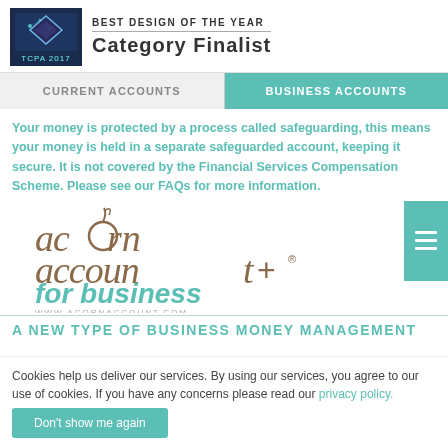[Figure (logo): TCPA 2017 award logo image — dark square with glowing digital pattern]
BEST DESIGN OF THE YEAR
Category Finalist
CURRENT ACCOUNTS
BUSINESS ACCOUNTS
Your money is protected by a process called safeguarding, this means your money is held in a separate safeguarded account, keeping it secure. It is not covered by the Financial Services Compensation Scheme. Please see our FAQs for more information.
[Figure (logo): Acorn Account for business logo — brown handwritten-style 'acorn account+' text with teal 'for business' below and www.acornaccount.com]
A NEW TYPE OF BUSINESS MONEY MANAGEMENT
Cookies help us deliver our services. By using our services, you agree to our use of cookies. If you have any concerns please read our privacy policy.
Don't show me again